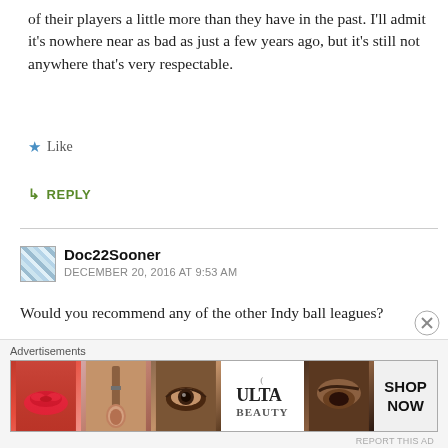of their players a little more than they have in the past. I'll admit it's nowhere near as bad as just a few years ago, but it's still not anywhere that's very respectable.
Like
REPLY
Doc22Sooner
DECEMBER 20, 2016 AT 9:53 AM
Would you recommend any of the other Indy ball leagues?
Like
[Figure (screenshot): Ulta beauty advertisement banner with makeup imagery: lips, brush, eye, Ulta logo, eyebrow, and SHOP NOW button]
Advertisements